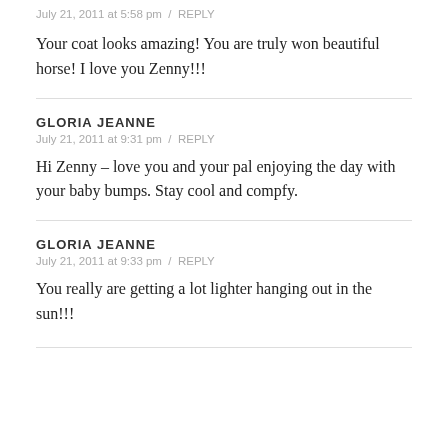July 21, 2011 at 5:58 pm / REPLY
Your coat looks amazing! You are truly won beautiful horse! I love you Zenny!!!
GLORIA JEANNE
July 21, 2011 at 9:31 pm / REPLY
Hi Zenny – love you and your pal enjoying the day with your baby bumps. Stay cool and compfy.
GLORIA JEANNE
July 21, 2011 at 9:33 pm / REPLY
You really are getting a lot lighter hanging out in the sun!!!